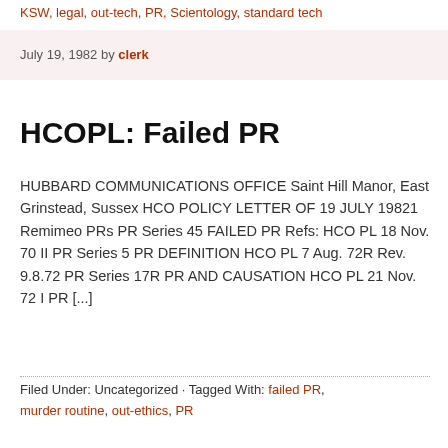KSW, legal, out-tech, PR, Scientology, standard tech
July 19, 1982 by clerk
HCOPL: Failed PR
HUBBARD COMMUNICATIONS OFFICE Saint Hill Manor, East Grinstead, Sussex HCO POLICY LETTER OF 19 JULY 19821 Remimeo PRs PR Series 45 FAILED PR Refs: HCO PL 18 Nov. 70 II PR Series 5 PR DEFINITION HCO PL 7 Aug. 72R Rev. 9.8.72 PR Series 17R PR AND CAUSATION HCO PL 21 Nov. 72 I PR [...]
Filed Under: Uncategorized · Tagged With: failed PR, murder routine, out-ethics, PR